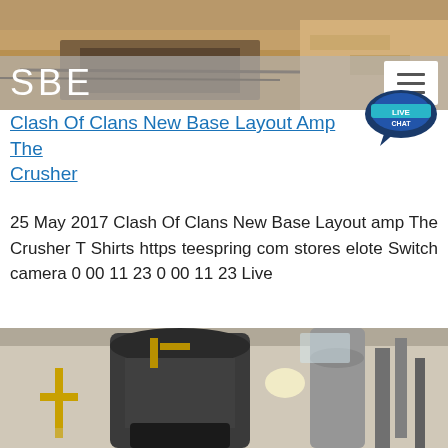[Figure (photo): Aerial outdoor photo showing construction or mining site with exposed earth, pipes, and equipment.]
SBE
Clash Of Clans New Base Layout Amp The Crusher
[Figure (other): Live Chat bubble icon with text LIVE CHAT in teal/dark blue color.]
25 May 2017 Clash Of Clans New Base Layout amp The Crusher T Shirts https teespring com stores elote Switch camera 0 00 11 23 0 00 11 23 Live
[Figure (photo): Industrial photo showing a large vertical crusher machine inside a factory or processing plant, with yellow scaffolding, metal pipes, and a person in a red jacket at the base.]